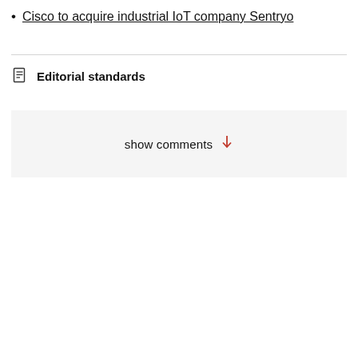Cisco to acquire industrial IoT company Sentryo
Editorial standards
show comments